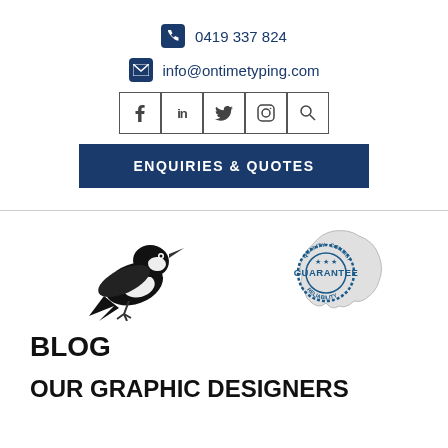0419 337 824
info@ontimetyping.com
[Figure (infographic): Social media icons row: Facebook, LinkedIn, Twitter, Instagram, Search — each in a square border box]
[Figure (infographic): ENQUIRIES & QUOTES dark blue button]
[Figure (logo): Black woodpecker bird illustration logo]
[Figure (logo): Guarantee reliability stamp badge overlaid on Australia map outline]
BLOG
OUR GRAPHIC DESIGNERS